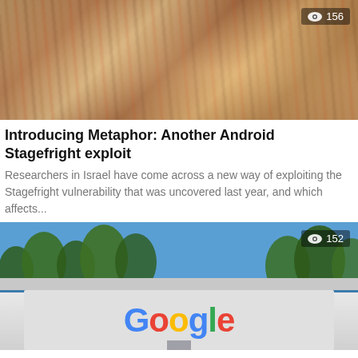[Figure (photo): Blurred photo of rows of books on a shelf with warm tones. View count overlay showing eye icon and 156.]
Introducing Metaphor: Another Android Stagefright exploit
Researchers in Israel have come across a new way of exploiting the Stagefright vulnerability that was uncovered last year, and which affects...
[Figure (photo): Photo of Google sign outdoors with trees in background and blue sky. View count overlay showing eye icon and 152.]